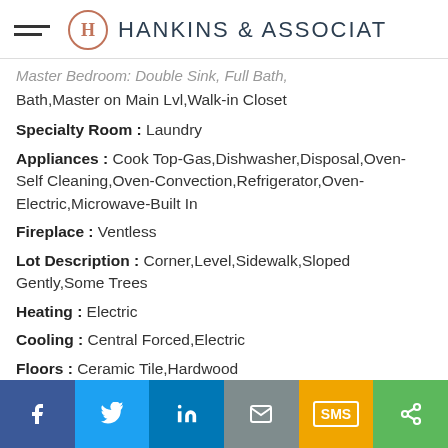H HANKINS & ASSOCIATES
Master Bedroom: Master Bedroom, Double Sink, Full Bath, Master on Main Lvl, Walk-in Closet
Specialty Room : Laundry
Appliances : Cook Top-Gas,Dishwasher,Disposal,Oven-Self Cleaning,Oven-Convection,Refrigerator,Oven-Electric,Microwave-Built In
Fireplace : Ventless
Lot Description : Corner,Level,Sidewalk,Sloped Gently,Some Trees
Heating : Electric
Cooling : Central Forced,Electric
Floors : Ceramic Tile,Hardwood
[Figure (infographic): Social share footer bar with icons: Facebook (blue), Twitter (light blue), LinkedIn (dark blue), Email (gray), SMS (yellow/orange), Share (green)]